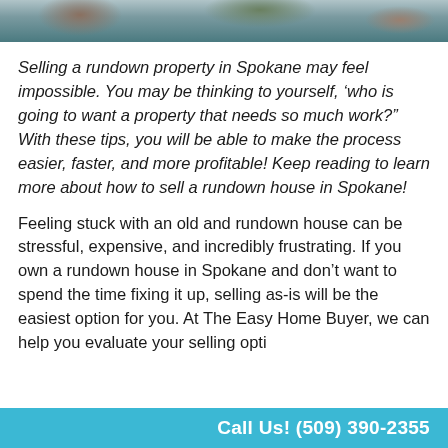[Figure (photo): Partial photo strip showing a rundown or outdoor property scene, cropped at top]
Selling a rundown property in Spokane may feel impossible. You may be thinking to yourself, ‘who is going to want a property that needs so much work?” With these tips, you will be able to make the process easier, faster, and more profitable! Keep reading to learn more about how to sell a rundown house in Spokane!
Feeling stuck with an old and rundown house can be stressful, expensive, and incredibly frustrating. If you own a rundown house in Spokane and don’t want to spend the time fixing it up, selling as-is will be the easiest option for you. At The Easy Home Buyer, we can help you evaluate your selling opti…
Call Us! (509) 390-2355